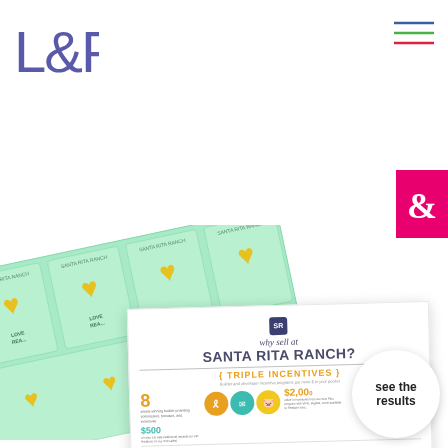[Figure (logo): L&P logo in blue/purple tones, top left]
[Figure (illustration): Hamburger menu icon with blue, green, and red lines, top right]
[Figure (illustration): Pink ampersand tab on right edge]
[Figure (infographic): Fanned green loyalty cards with Santa Rita Ranch branding and yellow heart icons, partially visible behind main document]
[Figure (infographic): Main white infographic sheet titled 'why sell at SANTA RITA RANCH?' featuring TRIPLE INCENTIVES section with circles, $500 and $2,000 incentive amounts, trophy icons, and 'see the results' call-out circle]